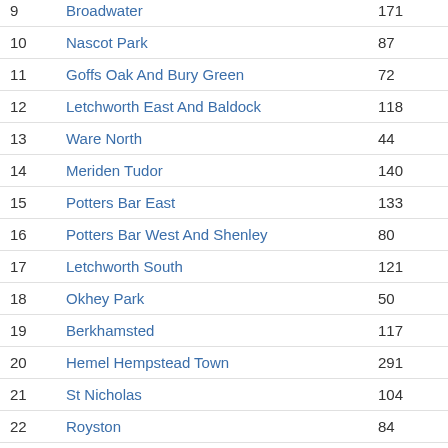| # | Name | Value |
| --- | --- | --- |
| 9 | Broadwater | 171 |
| 10 | Nascot Park | 87 |
| 11 | Goffs Oak And Bury Green | 72 |
| 12 | Letchworth East And Baldock | 118 |
| 13 | Ware North | 44 |
| 14 | Meriden Tudor | 140 |
| 15 | Potters Bar East | 133 |
| 16 | Potters Bar West And Shenley | 80 |
| 17 | Letchworth South | 121 |
| 18 | Okhey Park | 50 |
| 19 | Berkhamsted | 117 |
| 20 | Hemel Hempstead Town | 291 |
| 21 | St Nicholas | 104 |
| 22 | Royston | 84 |
| 23 | Bishop's Stortford West | 95 |
| 24 | Braughing | 69 |
| 25 | Abbots Langley | 102 |
| 26 | Bushey South | 88 |